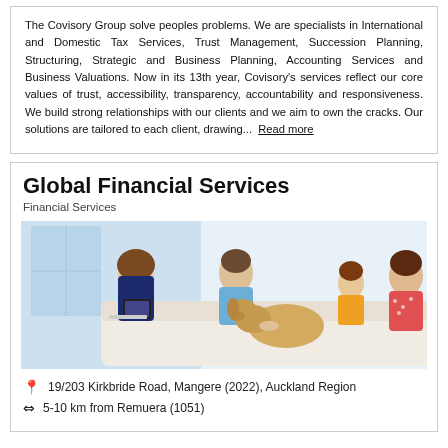The Covisory Group solve peoples problems. We are specialists in International and Domestic Tax Services, Trust Management, Succession Planning, Structuring, Strategic and Business Planning, Accounting Services and Business Valuations. Now in its 13th year, Covisory's services reflect our core values of trust, accessibility, transparency, accountability and responsiveness. We build strong relationships with our clients and we aim to own the cracks. Our solutions are tailored to each client, drawing... Read more
Global Financial Services
Financial Services
[Figure (photo): Photo of a financial advisor (woman in dark blazer) consulting with a family (man, young girl, woman) sitting on a couch with a golden labrador dog]
19/203 Kirkbride Road, Mangere (2022), Auckland Region
5-10 km from Remuera (1051)